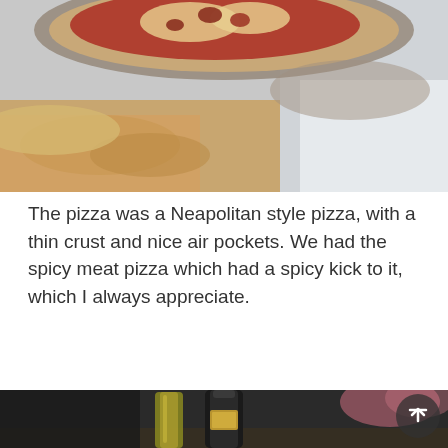[Figure (photo): Close-up photo of a Neapolitan style pizza with thin crust and visible toppings including meat, with a blurred foreground showing a slice and a white napkin in the background.]
The pizza was a Neapolitan style pizza, with a thin crust and nice air pockets. We had the spicy meat pizza which had a spicy kick to it, which I always appreciate.
[Figure (photo): Photo of condiment bottles including an olive oil bottle and a dark sauce bottle on a dark background, with a blurred pink object in the upper right corner.]